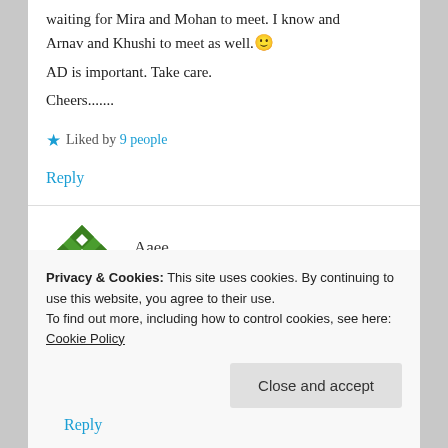waiting for Mira and Mohan to meet. I know and Arnav and Khushi to meet as well. 🙂
AD is important. Take care.
Cheers.......
★ Liked by 9 people
Reply
Aaee
AUGUST 29, 2019 AT 12:27 AM
Privacy & Cookies: This site uses cookies. By continuing to use this website, you agree to their use.
To find out more, including how to control cookies, see here: Cookie Policy
Close and accept
Reply